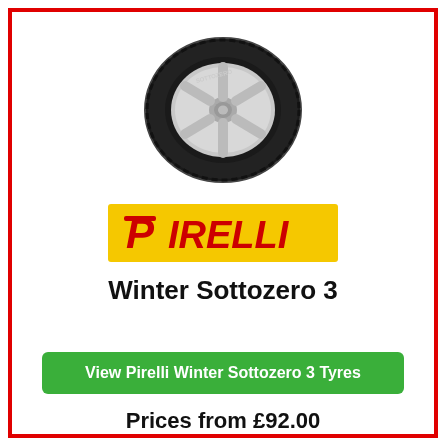[Figure (illustration): Pirelli Winter Sottozero 3 tyre with silver alloy wheel, shown at an angle against white background]
[Figure (logo): Pirelli logo — red P and red IRELLI text on yellow background]
Winter Sottozero 3
View Pirelli Winter Sottozero 3 Tyres
Prices from £92.00